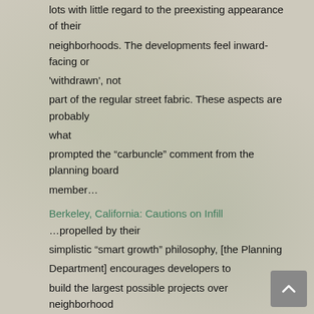lots with little regard to the preexisting appearance of their neighborhoods. The developments feel inward-facing or 'withdrawn', not part of the regular street fabric. These aspects are probably what prompted the "carbuncle" comment from the planning board member…
Berkeley, California: Cautions on Infill
…propelled by their simplistic "smart growth" philosophy, [the Planning Department] encourages developers to build the largest possible projects over neighborhood objections…
LA Weekly: "What's Smart About Smart Growth?"
Real estate developers have caught on, using the phrase shamelessly to gain public support for enormous developments, from a hillside